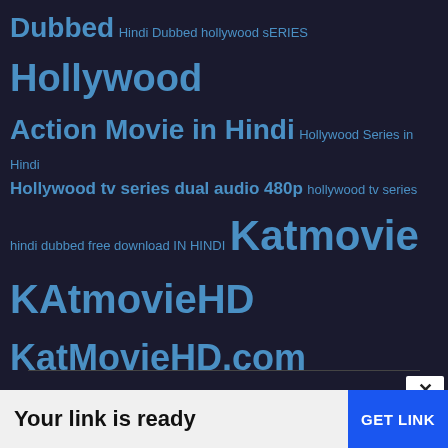Dubbed Hindi Dubbed hollywood sERIES Hollywood Action Movie in Hindi Hollywood Series in Hindi Hollywood tv series dual audio 480p hollywood tv series hindi dubbed free download IN HINDI Katmovie KAtmovieHD KatMovieHD.com NETFLIX Netflix Hindi Dubbed TV Series Netflix Hindi Dub Series Netflix Original Series Netflix Series in Hindi Romance season 1 Season 1 In Hindi Telegram Link Thriller tv series tv show TV Shows Unofficial Dubbed WEB-DL
Your link is ready
GET LINK